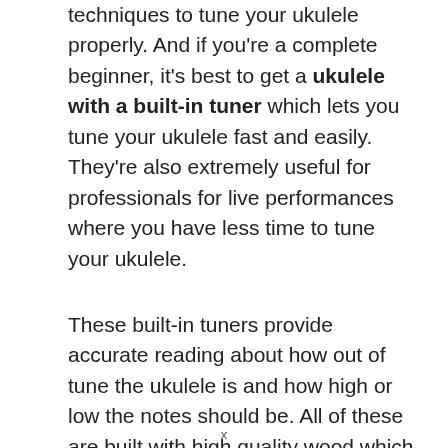techniques to tune your ukulele properly. And if you're a complete beginner, it's best to get a ukulele with a built-in tuner which lets you tune your ukulele fast and easily. They're also extremely useful for professionals for live performances where you have less time to tune your ukulele.
These built-in tuners provide accurate reading about how out of tune the ukulele is and how high or low the notes should be. All of these are built with high quality wood which are highly durable
x